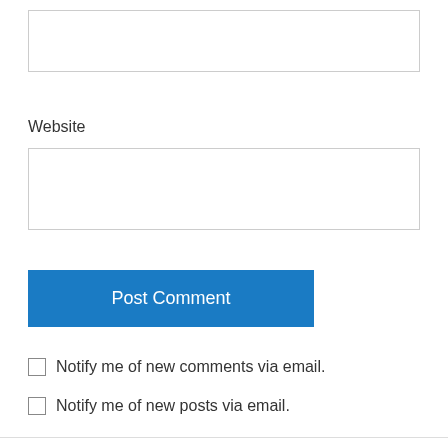[Figure (other): Empty text input box at top of page]
Website
[Figure (other): Empty website input box]
Post Comment
Notify me of new comments via email.
Notify me of new posts via email.
thechastecyclist on December 7, 2016 at 1:17 pm
It is sad when people don't truly understand the nuance of this song. Thanks for a brilliant